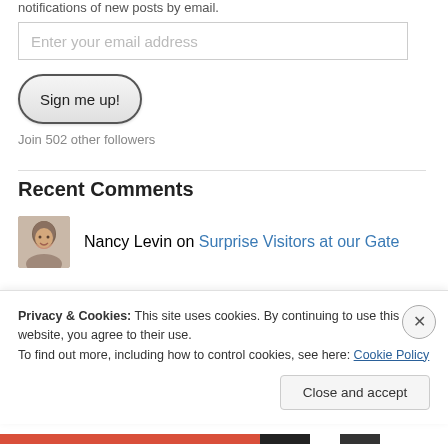notifications of new posts by email.
Enter your email address
Sign me up!
Join 502 other followers
Recent Comments
Nancy Levin on Surprise Visitors at our Gate
Liz on Surprise Visitors at our Gate
Privacy & Cookies: This site uses cookies. By continuing to use this website, you agree to their use.
To find out more, including how to control cookies, see here: Cookie Policy
Close and accept